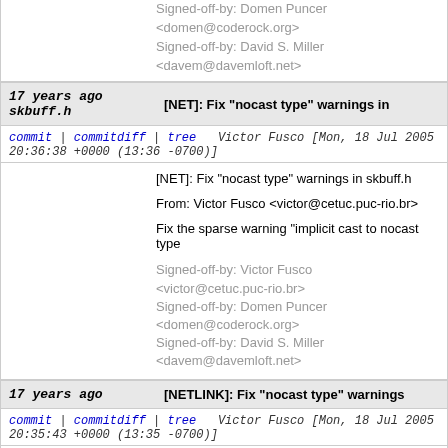Signed-off-by: Domen Puncer <domen@coderock.org>
Signed-off-by: David S. Miller <davem@davemloft.net>
17 years ago   [NET]: Fix "nocast type" warnings in skbuff.h
commit | commitdiff | tree   Victor Fusco [Mon, 18 Jul 2005 20:36:38 +0000 (13:36 -0700)]
[NET]: Fix "nocast type" warnings in skbuff.h

From: Victor Fusco <victor@cetuc.puc-rio.br>

Fix the sparse warning "implicit cast to nocast type"

Signed-off-by: Victor Fusco <victor@cetuc.puc-rio.br>
Signed-off-by: Domen Puncer <domen@coderock.org>
Signed-off-by: David S. Miller <davem@davemloft.net>
17 years ago   [NETLINK]: Fix "nocast type" warnings
commit | commitdiff | tree   Victor Fusco [Mon, 18 Jul 2005 20:35:43 +0000 (13:35 -0700)]
[NETLINK]: Fix "nocast type" warnings

From: Victor Fusco <victor@cetuc.puc-rio.br>